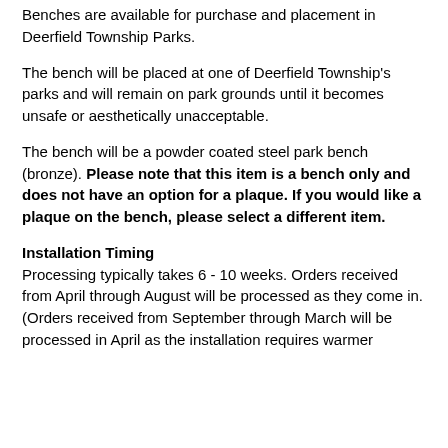Benches are available for purchase and placement in Deerfield Township Parks.
The bench will be placed at one of Deerfield Township's parks and will remain on park grounds until it becomes unsafe or aesthetically unacceptable.
The bench will be a powder coated steel park bench (bronze). Please note that this item is a bench only and does not have an option for a plaque. If you would like a plaque on the bench, please select a different item.
Installation Timing
Processing typically takes 6 - 10 weeks. Orders received from April through August will be processed as they come in. (Orders received from September through March will be processed in April as the installation requires warmer